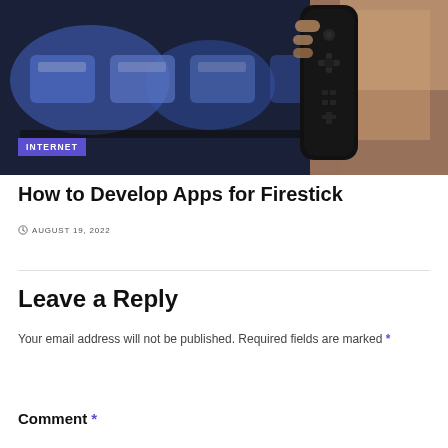[Figure (photo): A person holding a black TV remote control pointing at a blurred smart TV screen showing app icons with blue interface in background.]
How to Develop Apps for Firestick
AUGUST 19, 2022
Leave a Reply
Your email address will not be published. Required fields are marked *
Comment *